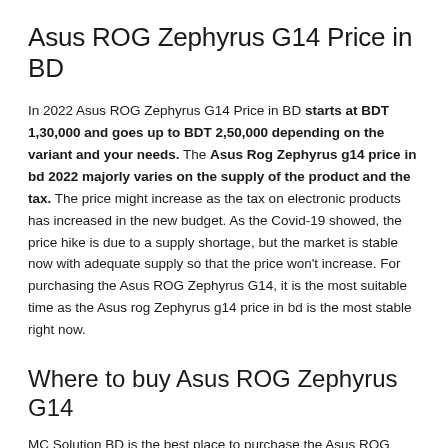Asus ROG Zephyrus G14 Price in BD
In 2022 Asus ROG Zephyrus G14 Price in BD starts at BDT 1,30,000 and goes up to BDT 2,50,000 depending on the variant and your needs. The Asus Rog Zephyrus g14 price in bd 2022 majorly varies on the supply of the product and the tax. The price might increase as the tax on electronic products has increased in the new budget. As the Covid-19 showed, the price hike is due to a supply shortage, but the market is stable now with adequate supply so that the price won't increase. For purchasing the Asus ROG Zephyrus G14, it is the most suitable time as the Asus rog Zephyrus g14 price in bd is the most stable right now.
Where to buy Asus ROG Zephyrus G14
MC Solution BD is the best place to purchase the Asus ROG Zephyrus G14. As we are the authorized distributor of the Asus laptops, we also have the most updated models of Asus Rog Zephyrus G14, including the mighty Alan Walker Edition. So,